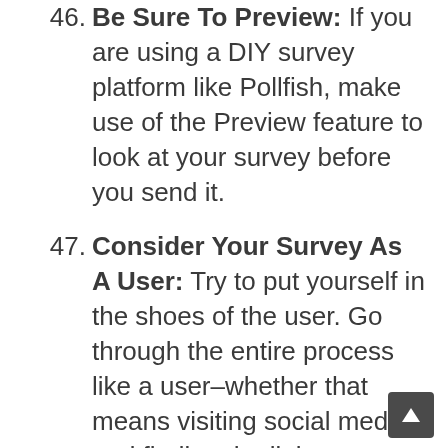46. Be Sure To Preview: If you are using a DIY survey platform like Pollfish, make use of the Preview feature to look at your survey before you send it.
47. Consider Your Survey As A User: Try to put yourself in the shoes of the user. Go through the entire process like a user–whether that means visiting social media and finding the link or opening an email. Consider your titles, subject lines, imagery and any other promotional materials. Do you feel excited to fill out the survey? Are you completely clear on how to fill out the survey or how long it will